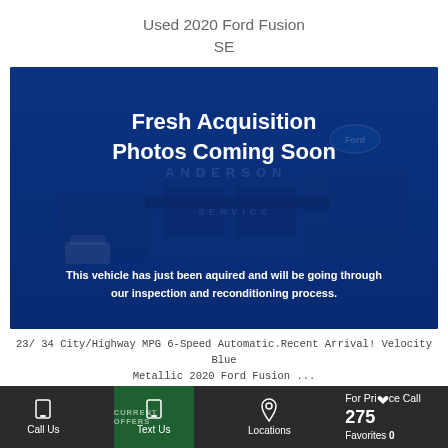Used 2020 Ford Fusion SE
[Figure (photo): Dealership photo with blue overlay showing Anderson Ford service area, overlaid with text 'Fresh Acquisition Photos Coming Soon' and notice about inspection and reconditioning process.]
23/34 City/Highway MPG 6-Speed Automatic.Recent Arrival! Velocity Blue Metallic 2020 Ford Fusion ...
Call Us  Text Us  Locations  For Price Call 275  Favorites 0